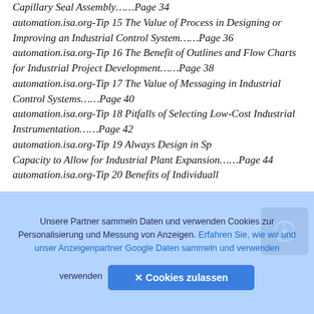Capillary Seal Assembly……Page 34
automation.isa.org-Tip 15 The Value of Process in Designing or Improving an Industrial Control System……Page 36
automation.isa.org-Tip 16 The Benefit of Outlines and Flow Charts for Industrial Project Development……Page 38
automation.isa.org-Tip 17 The Value of Messaging in Industrial Control Systems……Page 40
automation.isa.org-Tip 18 Pitfalls of Selecting Low-Cost Industrial Instrumentation……Page 42
automation.isa.org-Tip 19 Always Design in Spare Capacity to Allow for Industrial Plant Expansion……Page 44
automation.isa.org-Tip 20 Benefits of Individually...
Unsere Partner sammeln Daten und verwenden Cookies zur Personalisierung und Messung von Anzeigen. Erfahren Sie, wie wir und unser Anzeigenpartner Google Daten sammeln und verwenden
✕ Cookies zulassen